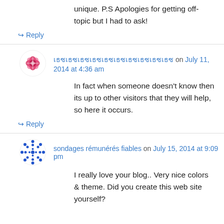unique. P.S Apologies for getting off-topic but I had to ask!
↪ Reply
เธซเธซเธซเธซเธซเธซเธซเธซเธซเธซ on July 11, 2014 at 4:36 am
In fact when someone doesn't know then its up to other visitors that they will help, so here it occurs.
↪ Reply
sondages rémunérés fiables on July 15, 2014 at 9:09 pm
I really love your blog.. Very nice colors & theme. Did you create this web site yourself?